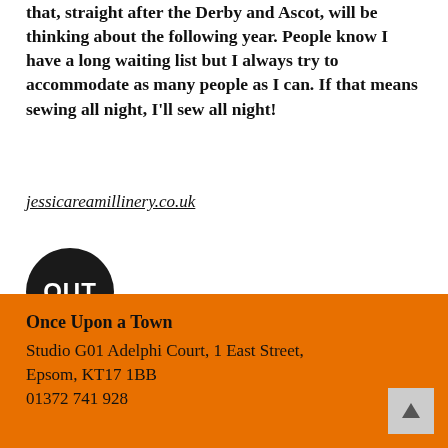that, straight after the Derby and Ascot, will be thinking about the following year. People know I have a long waiting list but I always try to accommodate as many people as I can. If that means sewing all night, I'll sew all night!
jessicareamillinery.co.uk
[Figure (logo): Black circular logo with white bold text reading OUT]
Once Upon a Town
Studio G01 Adelphi Court, 1 East Street, Epsom, KT17 1BB
01372 741 928